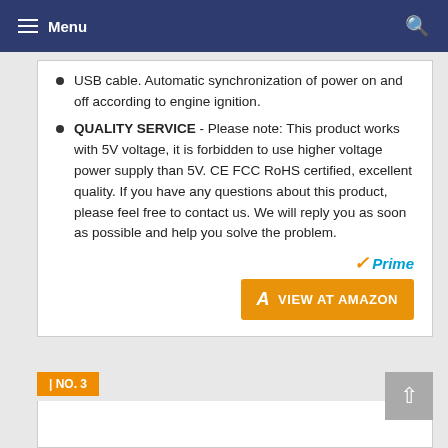Menu
USB cable. Automatic synchronization of power on and off according to engine ignition.
QUALITY SERVICE - Please note: This product works with 5V voltage, it is forbidden to use higher voltage power supply than 5V. CE FCC RoHS certified, excellent quality. If you have any questions about this product, please feel free to contact us. We will reply you as soon as possible and help you solve the problem.
[Figure (logo): Amazon Prime badge and VIEW AT AMAZON orange button]
NO. 3